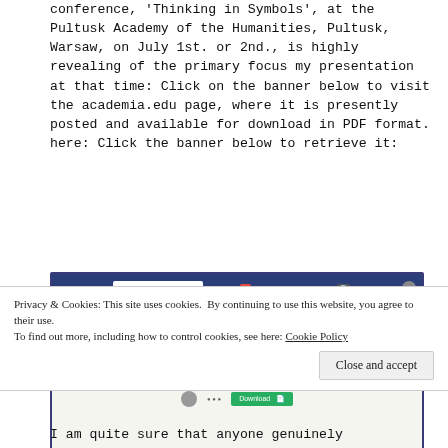conference, 'Thinking in Symbols', at the Pultusk Academy of the Humanities, Pultusk, Warsaw, on July 1st. or 2nd., is highly revealing of the primary focus my presentation at that time: Click on the banner below to visit the academia.edu page, where it is presently posted and available for download in PDF format. here: Click the banner below to retrieve it:
[Figure (screenshot): Screenshot of academia.edu page showing a paper titled 'The Paleo-Hebrew Gezer Agricultural Calendar or Almanac translated into Mycenaean Linear B' with a green Download button]
Privacy & Cookies: This site uses cookies. By continuing to use this website, you agree to their use.
To find out more, including how to control cookies, see here: Cookie Policy
Close and accept
I am quite sure that anyone genuinely